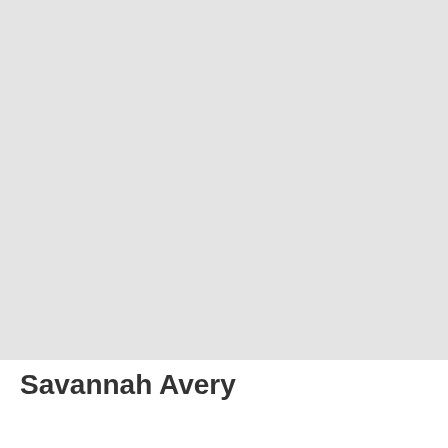[Figure (photo): Light gray placeholder image area occupying the upper portion of the page]
Savannah Avery